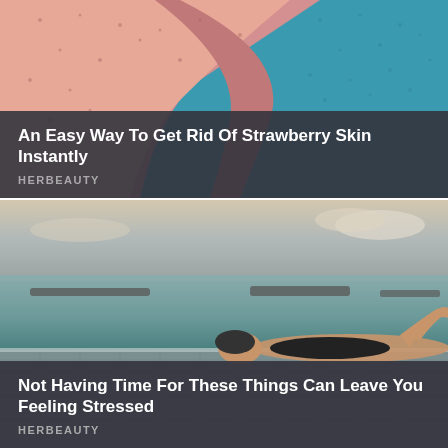[Figure (photo): Abstract close-up of salmon/pink and teal fabric or material with star/dot pattern, folded or twisted together]
An Easy Way To Get Rid Of Strawberry Skin Instantly
HERBEAUTY
[Figure (photo): Woman in black swimsuit lying on edge of infinity pool overlooking ocean at dusk/sunset, rocky jetties visible in background]
Not Having Time For These Things Can Leave You Feeling Stressed
HERBEAUTY